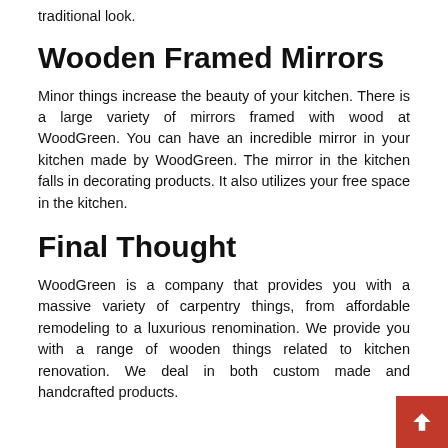traditional look.
Wooden Framed Mirrors
Minor things increase the beauty of your kitchen. There is a large variety of mirrors framed with wood at WoodGreen. You can have an incredible mirror in your kitchen made by WoodGreen. The mirror in the kitchen falls in decorating products. It also utilizes your free space in the kitchen.
Final Thought
WoodGreen is a company that provides you with a massive variety of carpentry things, from affordable remodeling to a luxurious renomination. We provide you with a range of wooden things related to kitchen renovation. We deal in both custom made and handcrafted products.